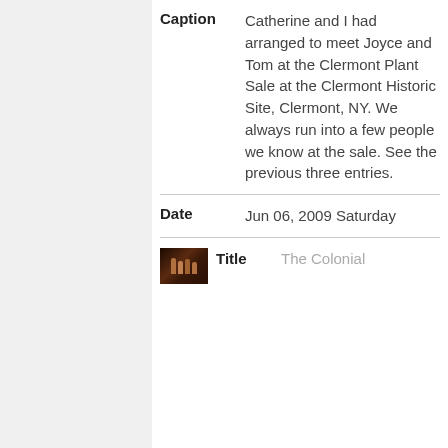| Field | Value |
| --- | --- |
| Caption | Catherine and I had arranged to meet Joyce and Tom at the Clermont Plant Sale at the Clermont Historic Site, Clermont, NY. We always run into a few people we know at the sale. See the previous three entries. |
| Date | Jun 06, 2009 Saturday |
| Title | The Colonial |